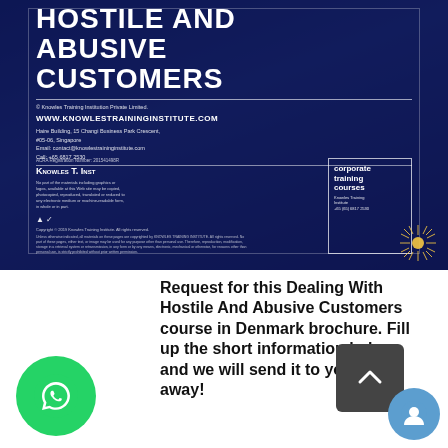[Figure (other): Brochure cover for 'Dealing With Hostile And Abusive Customers' course by Knowles Training Institution Private Limited. Dark navy blue background with city imagery. Contains title text, website URL, address, contact details, corporate training courses logo box, decorative starburst, ACRA registration info, copyright and disclaimer text.]
Request for this Dealing With Hostile And Abusive Customers course in Denmark brochure. Fill up the short information below and we will send it to you right away!